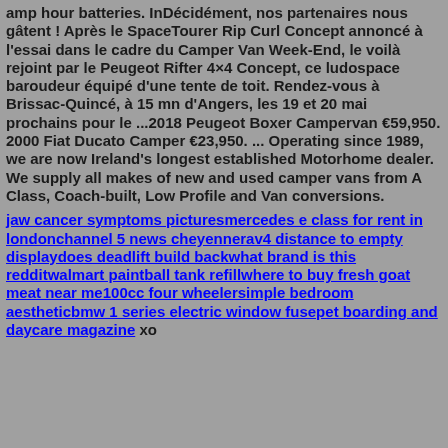amp hour batteries. InDécidément, nos partenaires nous gâtent ! Après le SpaceTourer Rip Curl Concept annoncé à l'essai dans le cadre du Camper Van Week-End, le voilà rejoint par le Peugeot Rifter 4×4 Concept, ce ludospace baroudeur équipé d'une tente de toit. Rendez-vous à Brissac-Quincé, à 15 mn d'Angers, les 19 et 20 mai prochains pour le ...2018 Peugeot Boxer Campervan €59,950. 2000 Fiat Ducato Camper €23,950. ... Operating since 1989, we are now Ireland's longest established Motorhome dealer. We supply all makes of new and used camper vans from A Class, Coach-built, Low Profile and Van conversions.
jaw cancer symptoms picturesmercedes e class for rent in londonchannel 5 news cheyennerav4 distance to empty displaydoes deadlift build backwhat brand is this redditwalmart paintball tank refillwhere to buy fresh goat meat near me100cc four wheelersimple bedroom aestheticbmw 1 series electric window fusepet boarding and daycare magazine xo